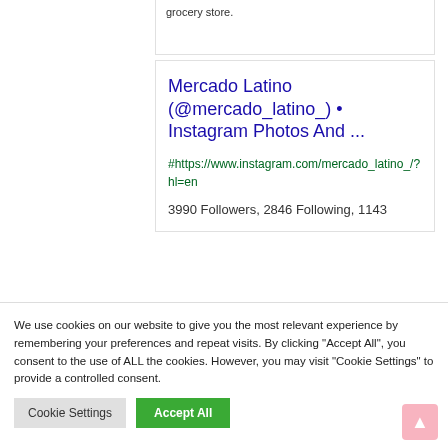grocery store.
Mercado Latino (@mercado_latino_) • Instagram Photos And ...
#https://www.instagram.com/mercado_latino_/?hl=en
3990 Followers, 2846 Following, 1143
We use cookies on our website to give you the most relevant experience by remembering your preferences and repeat visits. By clicking "Accept All", you consent to the use of ALL the cookies. However, you may visit "Cookie Settings" to provide a controlled consent.